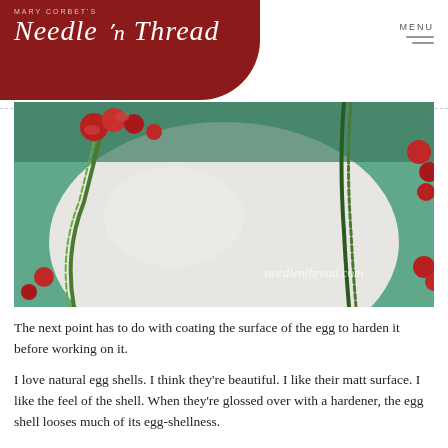Mary Corbett's Needle 'n Thread
[Figure (photo): Close-up photograph of an embroidered egg with green chain-stitch thread and red floral embroidery elements on a white/cream egg surface, with teal background. Watermark reads needlenthread.com]
The next point has to do with coating the surface of the egg to harden it before working on it.
I love natural egg shells. I think they're beautiful. I like their matt surface. I like the feel of the shell. When they're glossed over with a hardener, the egg shell looses much of its egg-shellness.
So I decided that I wouldn't coat the egg with a hardener – or that I would at least try to avoid doing so, and see how far I could get. My resolve on this point may change over time. There's also the idea that a hardener would preserve the egg from breakage, after it's finished, and so I do know. So — I'm still fiddling with this idea